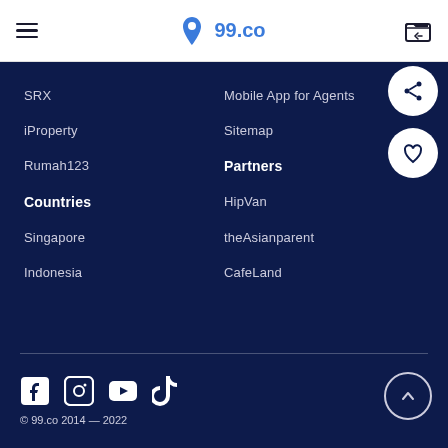99.co
SRX
Mobile App for Agents
iProperty
Sitemap
Rumah123
Partners
Countries
HipVan
Singapore
theAsianparent
Indonesia
CafeLand
© 99.co 2014 — 2022